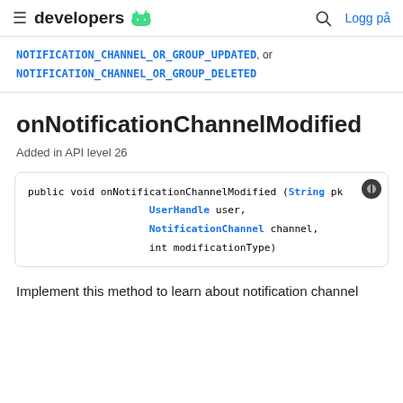developers [android icon] | Logg på
NOTIFICATION_CHANNEL_OR_GROUP_UPDATED, or NOTIFICATION_CHANNEL_OR_GROUP_DELETED
onNotificationChannelModified
Added in API level 26
public void onNotificationChannelModified (String pk
                    UserHandle user,
                    NotificationChannel channel,
                    int modificationType)
Implement this method to learn about notification channel